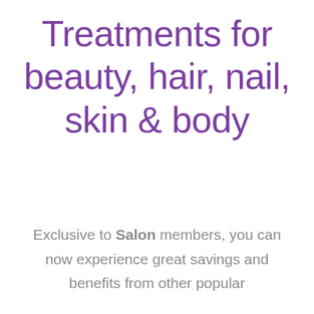Treatments for beauty, hair, nail, skin & body
Exclusive to Salon members, you can now experience great savings and benefits from other popular